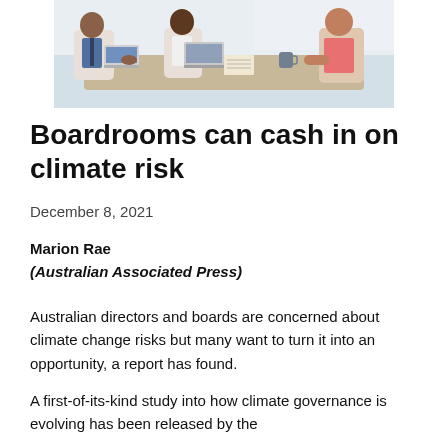[Figure (photo): Photo of people sitting around a conference table with laptops in a bright office meeting room]
Boardrooms can cash in on climate risk
December 8, 2021
Marion Rae
(Australian Associated Press)
Australian directors and boards are concerned about climate change risks but many want to turn it into an opportunity, a report has found.
A first-of-its-kind study into how climate governance is evolving has been released by the